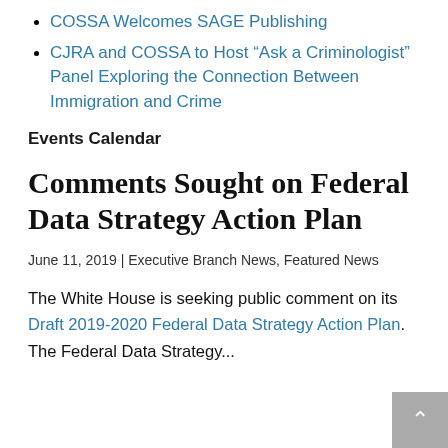COSSA Welcomes SAGE Publishing
CJRA and COSSA to Host “Ask a Criminologist” Panel Exploring the Connection Between Immigration and Crime
Events Calendar
Comments Sought on Federal Data Strategy Action Plan
June 11, 2019 | Executive Branch News, Featured News
The White House is seeking public comment on its Draft 2019–2020 Federal Data Strategy Action Plan. The Federal Data Strategy...